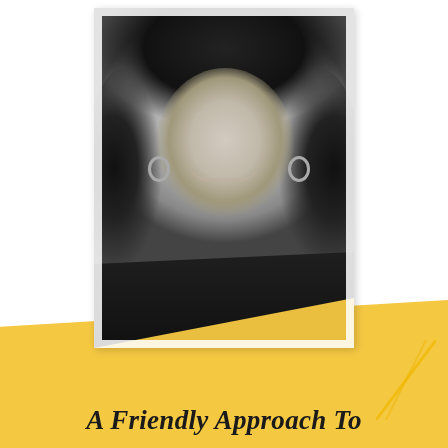[Figure (photo): Black and white professional headshot portrait of a woman with dark curly hair, hoop earrings, smiling, wearing a dark jacket. Photo has a white border/frame with a gold/yellow triangle overlay at the bottom left of the image.]
A Friendly Approach To